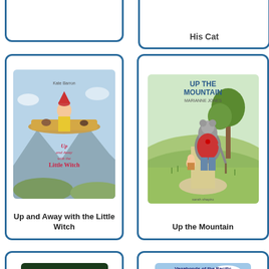[Figure (illustration): Partial book card cropped at top - blank white space visible]
His Cat
[Figure (illustration): Book cover: Up and Away with the Little Witch by Kate Barron - girl on flying book with witch theme]
Up and Away with the Little Witch
[Figure (illustration): Book cover: Up the Mountain - bear and child walking up a path with tree in background]
Up the Mountain
[Figure (illustration): Book cover: The Vagabonds Ashore by Paul Berna]
[Figure (illustration): Book cover: Vagabonds of the Pacific by Paul Berna - sailing boat on water]